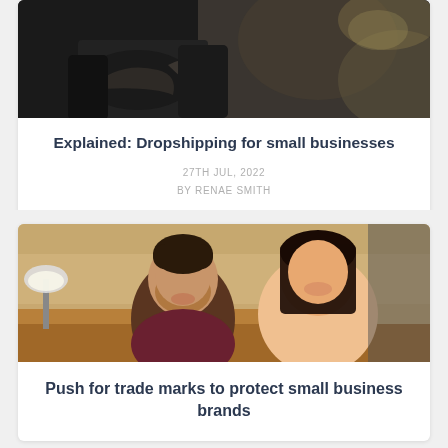[Figure (photo): Close-up of two people shaking hands in a dark business setting]
Explained: Dropshipping for small businesses
27TH JUL, 2022
BY RENAE SMITH
[Figure (photo): Two smiling people, a man and a woman, in an office/home workspace setting]
Push for trade marks to protect small business brands